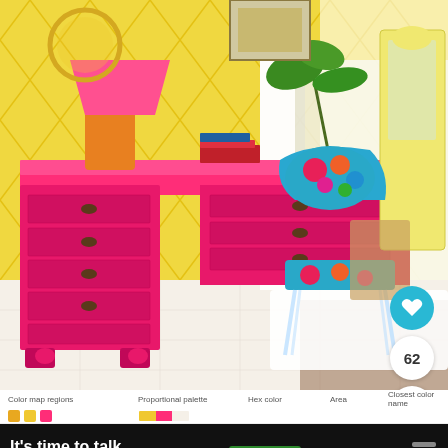[Figure (photo): Interior room photo showing a bright pink/hot-pink painted wooden desk with brass drawer pulls, topped with books and a pink lamp with orange base. A colorful floral-patterned chair with transparent acrylic legs sits at the desk. Background features yellow geometric-patterned wallpaper, white curtains, and a white china cabinet in the corner. White tile flooring.]
[Figure (other): Social interaction buttons: teal heart/like button with heart icon, white circle with number 62, white circle with share icon]
| Color map regions | Proportional palette | Hex color | Area | Closest color name |
| --- | --- | --- | --- | --- |
| (color swatches) | (palette swatches) | (hex values) | (area values) | (color names) |
[Figure (infographic): Advertisement banner: black background with white bold text 'It's time to talk about Alzheimer's.' A green 'LEARN MORE' button in the center. Alzheimer's Association logo (teal 'al' box with purple text). An X close button and a share/menu icon on the right.]